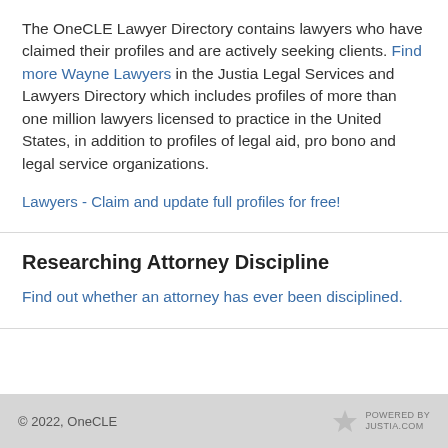The OneCLE Lawyer Directory contains lawyers who have claimed their profiles and are actively seeking clients. Find more Wayne Lawyers in the Justia Legal Services and Lawyers Directory which includes profiles of more than one million lawyers licensed to practice in the United States, in addition to profiles of legal aid, pro bono and legal service organizations.
Lawyers - Claim and update full profiles for free!
Researching Attorney Discipline
Find out whether an attorney has ever been disciplined.
© 2022, OneCLE    POWERED BY JUSTIA.COM